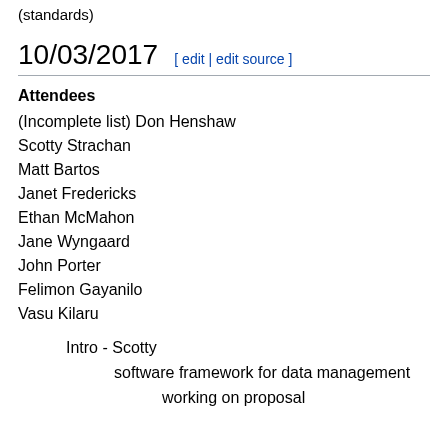(standards)
10/03/2017
Attendees
(Incomplete list) Don Henshaw
Scotty Strachan
Matt Bartos
Janet Fredericks
Ethan McMahon
Jane Wyngaard
John Porter
Felimon Gayanilo
Vasu Kilaru
Intro - Scotty
software framework for data management
working on proposal